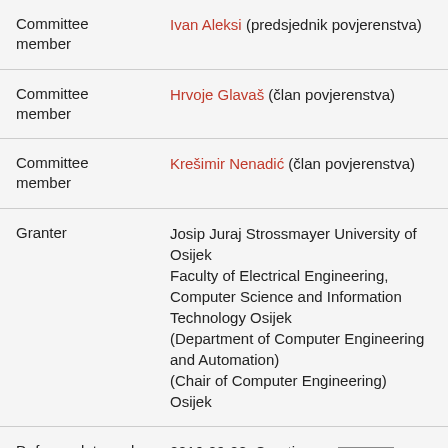| Role | Person/Info |
| --- | --- |
| Committee member | Ivan Aleksi (predsjednik povjerenstva) |
| Committee member | Hrvoje Glavaš (član povjerenstva) |
| Committee member | Krešimir Nenadić (član povjerenstva) |
| Granter | Josip Juraj Strossmayer University of Osijek
Faculty of Electrical Engineering, Computer Science and Information Technology Osijek
(Department of Computer Engineering and Automation)
(Chair of Computer Engineering)
Osijek |
| Defense date and country | 2016-09-28, Croatia |